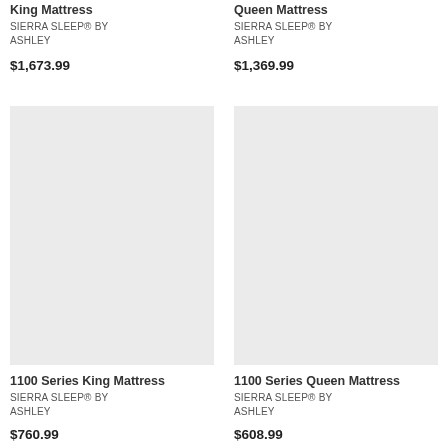Latex and Memory Foam King Mattress
SIERRA SLEEP® BY ASHLEY
$1,673.99
Latex and Memory Foam Queen Mattress
SIERRA SLEEP® BY ASHLEY
$1,369.99
[Figure (photo): Product image placeholder for 1100 Series King Mattress]
1100 Series King Mattress
SIERRA SLEEP® BY ASHLEY
$760.99
[Figure (photo): Product image placeholder for 1100 Series Queen Mattress]
1100 Series Queen Mattress
SIERRA SLEEP® BY ASHLEY
$608.99